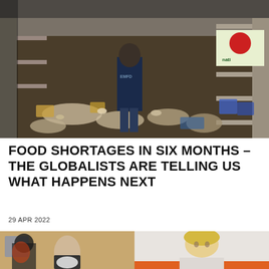[Figure (photo): A police officer in a dark jacket labeled 'EMFD' stands in a trashed supermarket aisle with empty shelves and debris scattered across the floor. Store signage visible on the right side.]
FOOD SHORTAGES IN SIX MONTHS – THE GLOBALISTS ARE TELLING US WHAT HAPPENS NEXT
29 APR 2022
[Figure (photo): Two people shown in a split video frame: left shows a man wearing a face mask in a room with orange/yellow walls; right shows a blonde woman against a light background with an orange element.]